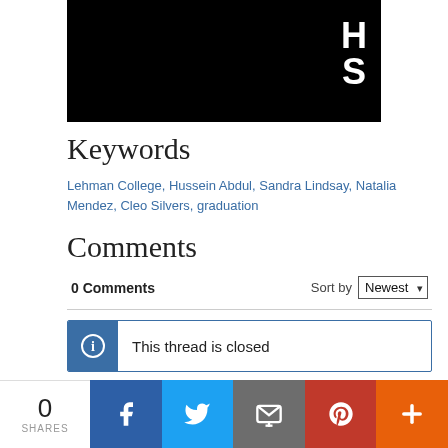[Figure (photo): Black hero image with white 'HS' letters in top right corner]
Keywords
Lehman College, Hussein Abdul, Sandra Lindsay, Natalia Mendez, Cleo Silvers, graduation
Comments
0 Comments   Sort by Newest
This thread is closed
Facebook Comments Plugin
0 SHARES